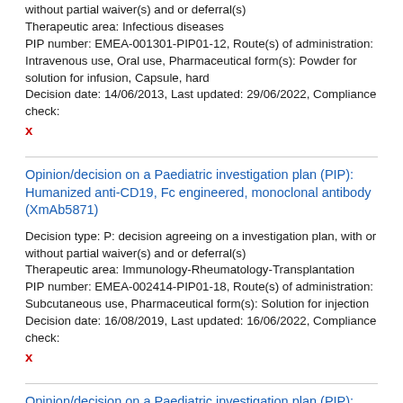without partial waiver(s) and or deferral(s)
Therapeutic area: Infectious diseases
PIP number: EMEA-001301-PIP01-12, Route(s) of administration: Intravenous use, Oral use, Pharmaceutical form(s): Powder for solution for infusion, Capsule, hard
Decision date: 14/06/2013, Last updated: 29/06/2022, Compliance check:
X
Opinion/decision on a Paediatric investigation plan (PIP): Humanized anti-CD19, Fc engineered, monoclonal antibody (XmAb5871)
Decision type: P: decision agreeing on a investigation plan, with or without partial waiver(s) and or deferral(s)
Therapeutic area: Immunology-Rheumatology-Transplantation
PIP number: EMEA-002414-PIP01-18, Route(s) of administration: Subcutaneous use, Pharmaceutical form(s): Solution for injection
Decision date: 16/08/2019, Last updated: 16/06/2022, Compliance check:
X
Opinion/decision on a Paediatric investigation plan (PIP): Expanded human autologous mesenchymal adult stem cells extracted from adipose tissue (CX-401)